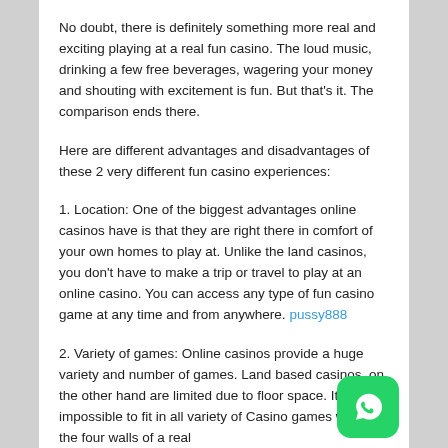No doubt, there is definitely something more real and exciting playing at a real fun casino. The loud music, drinking a few free beverages, wagering your money and shouting with excitement is fun. But that's it. The comparison ends there.
Here are different advantages and disadvantages of these 2 very different fun casino experiences:
1. Location: One of the biggest advantages online casinos have is that they are right there in comfort of your own homes to play at. Unlike the land casinos, you don't have to make a trip or travel to play at an online casino. You can access any type of fun casino game at any time and from anywhere. pussy888
2. Variety of games: Online casinos provide a huge variety and number of games. Land based casinos, on the other hand are limited due to floor space. It is impossible to fit in all variety of Casino games within the four walls of a real